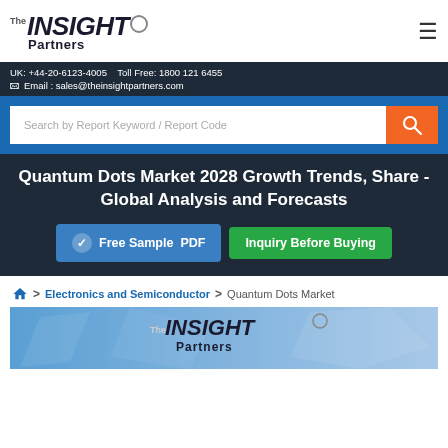[Figure (logo): The Insight Partners logo with circle icon]
UK: +44-20-6123-4005   Toll Free: 1800 121 6455
Email : sales@theinsightpartners.com
Search by Report Keyword / Report Code
Quantum Dots Market 2028 Growth Trends, Share - Global Analysis and Forecasts
Free Sample PDF   Inquiry Before Buying
Electronics and Semiconductor > Quantum Dots Market
[Figure (logo): The Insight Partners logo on blue tech background]